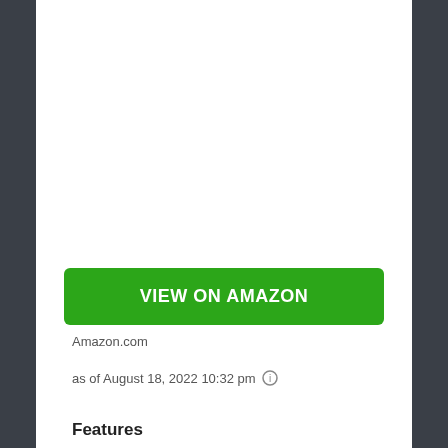[Figure (other): Green 'VIEW ON AMAZON' button]
Amazon.com
as of August 18, 2022 10:32 pm ⓘ
Features